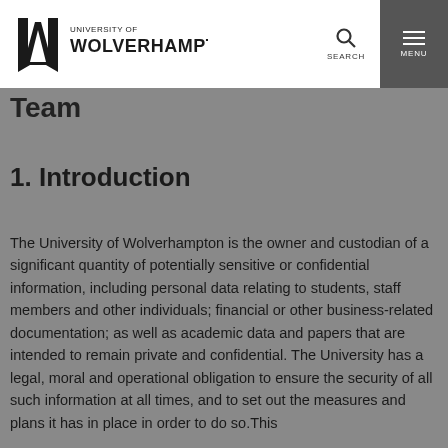University of Wolverhampton — SEARCH / MENU navigation header
Team
1. Introduction
The University of Wolverhampton is the owner and custodian of a significant quantity of potentially sensitive or confidential information, including personal data relating to students, staff members and other individuals; financial or other business-related documentation; as well as academic data and papers that are intended to remain private and confidential. The University has a legal, moral and operational obligation to ensure the security of all such information at all times, and to set out the measures and plans it has in place in order to do so.This